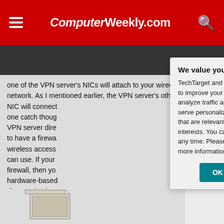ComputerWeekly.com
one of the VPN server's NICs will attach to your wired network. As I mentioned earlier, the VPN server's other NIC will connect to one catch though VPN server dire to have a firewa wireless access can use. If your firewall, then you hardware-based diagram in Figur
We value your privacy.
TechTarget and its partners employ cookies to improve your experience on our site, to analyze traffic and performance, and to serve personalized content and advertising that are relevant to your professional interests. You can manage your settings at any time. Please view our Privacy Policy for more information
[Figure (illustration): Partial network diagram showing a device icon at bottom left of the article area]